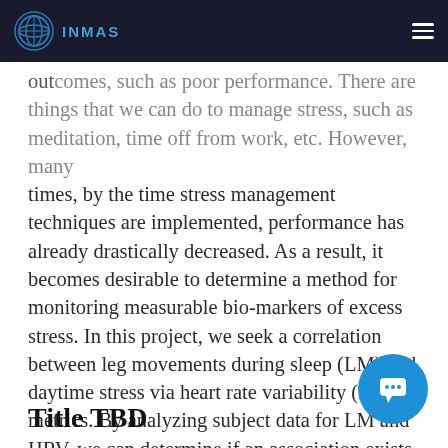INMAS
outcomes, such as poor performance. There are things that we can do to manage stress, such as meditation, time off from work, etc. However, many times, by the time stress management techniques are implemented, performance has already drastically decreased. As a result, it becomes desirable to determine a method for monitoring measurable bio-markers of excess stress. In this project, we seek a correlation between leg movements during sleep (LM) and daytime stress via heart rate variability (HRV) metrics. By analyzing subject data for LM and HRV, we can determine if an association exists between these two variables, giving users the ability to detect when stress will cause a decrease in performance. The results of the study are still being investigated.
Title TBD